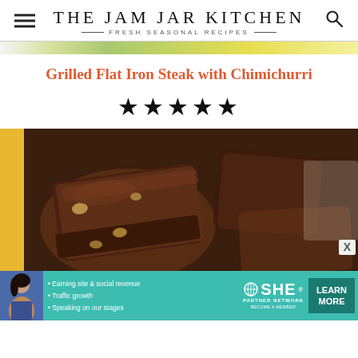THE JAM JAR KITCHEN — FRESH SEASONAL RECIPES
Grilled Flat Iron Steak with Chimichurri
★★★★★
[Figure (photo): Close-up photo of chocolate brownies with nuts, stacked on a surface. A yellow background is partially visible on the left. An X close button appears at the lower right.]
[Figure (infographic): Advertisement banner for SHE Media Partner Network in teal/green color. Contains a woman's photo on the left, bullet points: Earning site & social revenue, Traffic growth, Speaking on our stages. SHE Media logo with a globe icon. A dark teal LEARN MORE button on the right.]